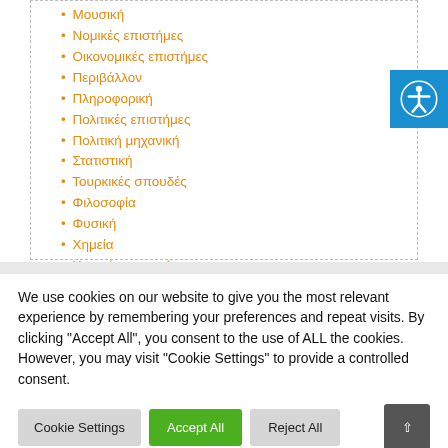• Μουσική
• Νομικές επιστήμες
• Οικονομικές επιστήμες
• Περιβάλλον
• Πληροφορική
• Πολιτικές επιστήμες
• Πολιτική μηχανική
• Στατιστική
• Τουρκικές σπουδές
• Φιλοσοφία
• Φυσική
• Χημεία
• Χημική μηχανική
• Ψυχολογία
• Ωκεανογραφία
We use cookies on our website to give you the most relevant experience by remembering your preferences and repeat visits. By clicking "Accept All", you consent to the use of ALL the cookies. However, you may visit "Cookie Settings" to provide a controlled consent.